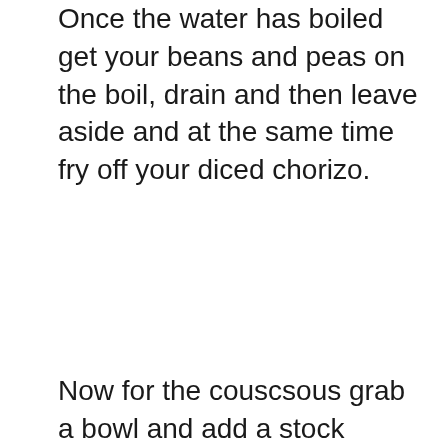Once the water has boiled get your beans and peas on the boil, drain and then leave aside and at the same time fry off your diced chorizo.
Now for the couscsous grab a bowl and add a stock cube. Then pour in your boiling water to dissolve. Use